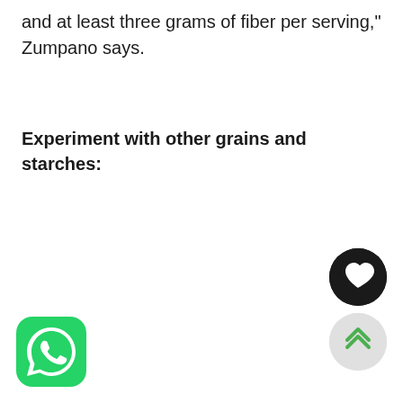and at least three grams of fiber per serving," Zumpano says.
Experiment with other grains and starches:
[Figure (logo): WhatsApp green rounded square icon with white phone/chat symbol]
[Figure (other): Black circular button with white heart icon (favorite/like button)]
[Figure (other): Light gray circular button with green double chevron up arrow (scroll to top button)]